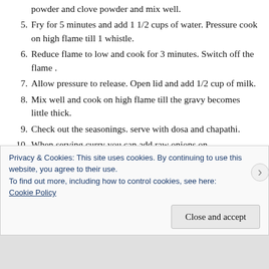powder and clove powder and mix well.
5. Fry for 5 minutes and add 1 1/2 cups of water. Pressure cook on high flame till 1 whistle.
6. Reduce flame to low and cook for 3 minutes. Switch off the flame .
7. Allow pressure to release. Open lid and add 1/2 cup of milk.
8. Mix well and cook on high flame till the gravy becomes little thick.
9. Check out the seasonings. serve with dosa and chapathi.
10. When serving curry you can add raw onions on
Privacy & Cookies: This site uses cookies. By continuing to use this website, you agree to their use. To find out more, including how to control cookies, see here: Cookie Policy
Close and accept